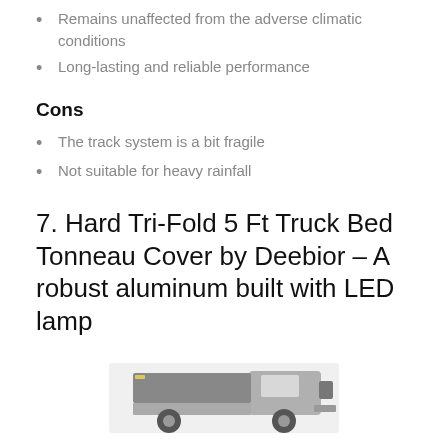Remains unaffected from the adverse climatic conditions
Long-lasting and reliable performance
Cons
The track system is a bit fragile
Not suitable for heavy rainfall
7. Hard Tri-Fold 5 Ft Truck Bed Tonneau Cover by Deebior – A robust aluminum built with LED lamp
[Figure (photo): Photo of a truck with a hard tri-fold tonneau cover, black and white image showing the truck bed cover]